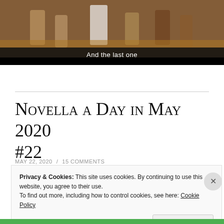[Figure (photo): A scene with people around a table in a room, with subtitle text 'And the last one' overlaid on a dark bar at the bottom of the image.]
Novella a Day in May 2020 #22
MAY 22, 2020 / 15 COMMENTS
Privacy & Cookies: This site uses cookies. By continuing to use this website, you agree to their use.
To find out more, including how to control cookies, see here: Cookie Policy
Close and accept